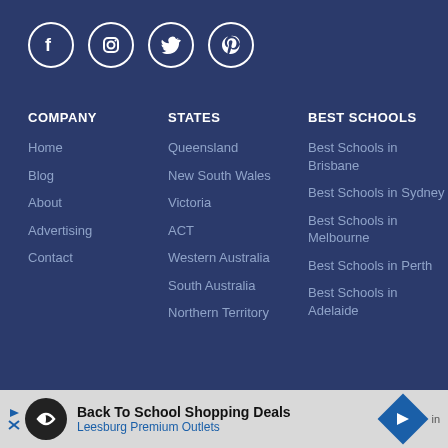[Figure (other): Social media icons: Facebook, Instagram, Twitter, Pinterest in white circles on dark blue background]
COMPANY
Home
Blog
About
Advertising
Contact
STATES
Queensland
New South Wales
Victoria
ACT
Western Australia
South Australia
Northern Territory
BEST SCHOOLS
Best Schools in Brisbane
Best Schools in Sydney
Best Schools in Melbourne
Best Schools in Perth
Best Schools in Adelaide
Back To School Shopping Deals Leesburg Premium Outlets